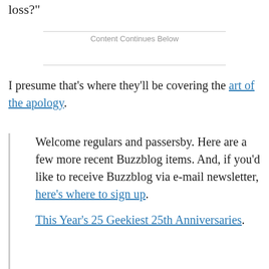loss?"
Content Continues Below
I presume that's where they'll be covering the art of the apology.
Welcome regulars and passersby. Here are a few more recent Buzzblog items. And, if you'd like to receive Buzzblog via e-mail newsletter, here's where to sign up.
This Year's 25 Geekiest 25th Anniversaries.
YouTube takes a page from xkcd.